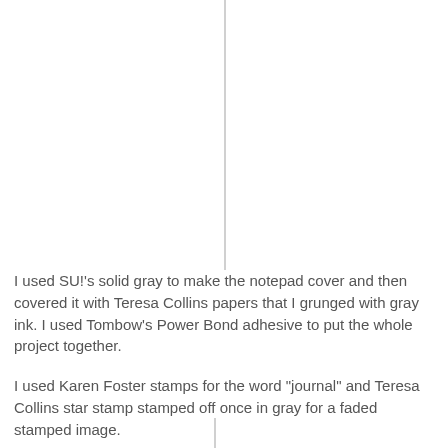[Figure (other): Vertical light gray dividing line running from the top of the page downward approximately 270px, centered horizontally around x=224]
I used SU!'s solid gray to make the notepad cover and then covered it with Teresa Collins papers that I grunged with gray ink. I used Tombow's Power Bond adhesive to put the whole project together.
I used Karen Foster stamps for the word "journal" and Teresa Collins star stamp stamped off once in gray for a faded stamped image.